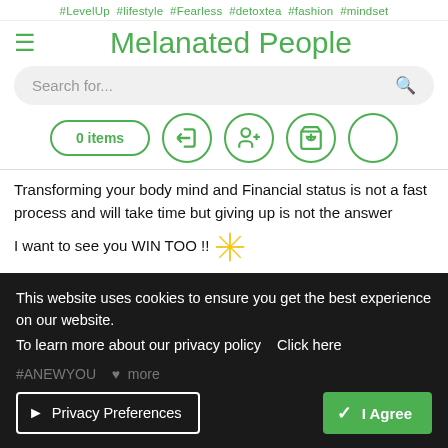#LevelUp #lifestyle #Fearless #detoxtea #fashion #mindset
Melanated People
Search for...
[Figure (infographic): Navigation icon row: 0 items pill button, login arrow icon, user-add icon, cart icon, empty circle]
Transforming your body mind and Financial status is not a fast process and will take time but giving up is not the answer
I want to see you WIN TOO !!
Cookie banner: This website uses cookies to ensure you get the best experience on our website. To learn more about our privacy policy   Click here
Privacy Preferences
I Agree